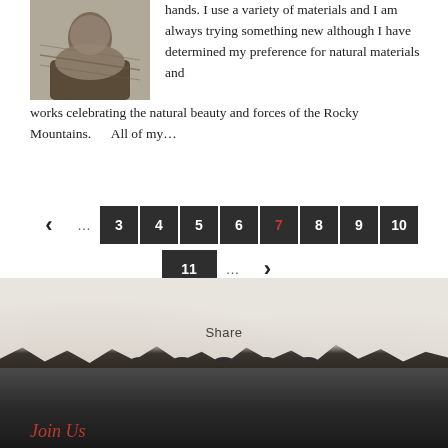[Figure (photo): Person working with hands on natural wood/fiber material]
hands. I use a variety of materials and I am always trying something new although I have determined my preference for natural materials and works celebrating the natural beauty and forces of the Rocky Mountains.      All of my...
← ... 3 4 5 6 7 8 9 10  11 ... →
Share
[Figure (infographic): Social media share icons: Facebook, Twitter, LinkedIn, Pinterest, Email]
Join Us